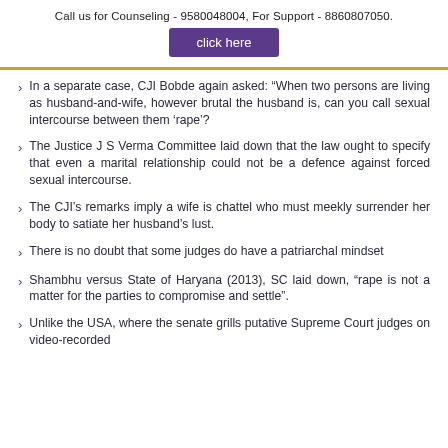Call us for Counseling - 9580048004, For Support - 8860807050.
click here
In a separate case, CJI Bobde again asked: “When two persons are living as husband-and-wife, however brutal the husband is, can you call sexual intercourse between them ‘rape’?
The Justice J S Verma Committee laid down that the law ought to specify that even a marital relationship could not be a defence against forced sexual intercourse.
The CJI’s remarks imply a wife is chattel who must meekly surrender her body to satiate her husband’s lust.
There is no doubt that some judges do have a patriarchal mindset
Shambhu versus State of Haryana (2013), SC laid down, “rape is not a matter for the parties to compromise and settle”.
Unlike the USA, where the senate grills putative Supreme Court judges on video-recorded